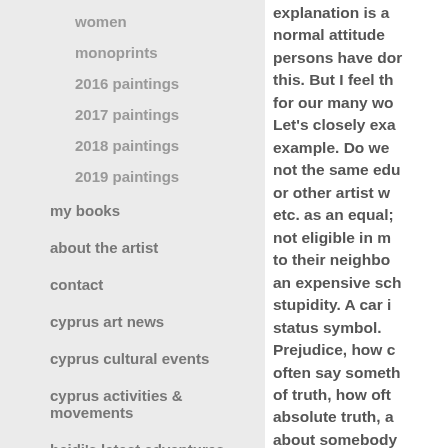women
monoprints
2016 paintings
2017 paintings
2018 paintings
2019 paintings
my books
about the artist
contact
cyprus art news
cyprus cultural events
cyprus activities & movements
heidi's latest adventures
links
explanation is a normal attitude persons have done this. But I feel th for our many wo Let's closely exa example. Do we not the same edu or other artist w etc. as an equal; not eligible in m to their neighbo an expensive sch stupidity. A car i status symbol. Prejudice, how o often say someth of truth, how oft absolute truth, a about somebody common practic let it sink into ou are slaves; Germ people are arrog siestas and Engli This sor of th